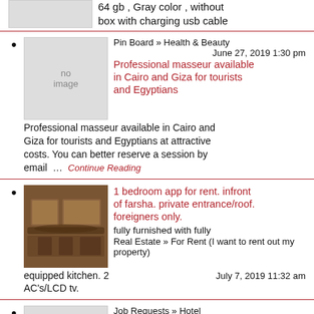64 gb , Gray color , without box with charging usb cable
Pin Board » Health & Beauty | June 27, 2019 1:30 pm | Professional masseur available in Cairo and Giza for tourists and Egyptians | Professional masseur available in Cairo and Giza for tourists and Egyptians at attractive costs. You can better reserve a session by email ... Continue Reading
1 bedroom app for rent. infront of farsha. private entrance/roof. foreigners only. fully furnished with fully | Real Estate » For Rent (I want to rent out my property) | equipped kitchen. 2 AC's/LCD tv. | July 7, 2019 11:32 am
Job Requests » Hotel | July 9, 2019 8:04 pm | Reservation Manager | Experienced assistant reservation manager looking for